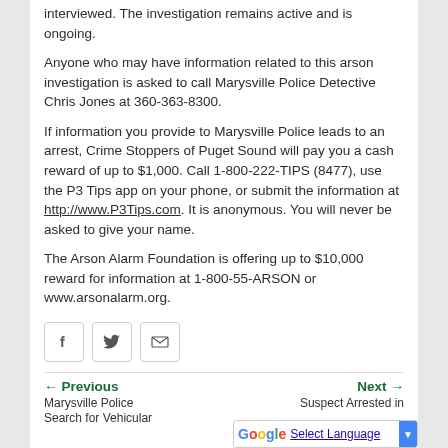interviewed. The investigation remains active and is ongoing.
Anyone who may have information related to this arson investigation is asked to call Marysville Police Detective Chris Jones at 360-363-8300.
If information you provide to Marysville Police leads to an arrest, Crime Stoppers of Puget Sound will pay you a cash reward of up to $1,000. Call 1-800-222-TIPS (8477), use the P3 Tips app on your phone, or submit the information at http://www.P3Tips.com. It is anonymous. You will never be asked to give your name.
The Arson Alarm Foundation is offering up to $10,000 reward for information at 1-800-55-ARSON or www.arsonalarm.org.
[Figure (other): Social media share buttons: Facebook, Twitter, Email]
Previous | Marysville Police Search for Vehicular | Next | Suspect Arrested in | Select Language